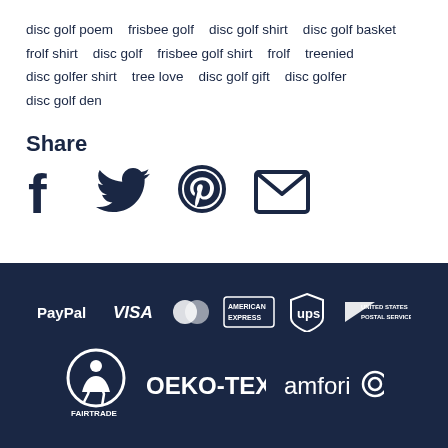disc golf poem   frisbee golf   disc golf shirt   disc golf basket   frolf shirt   disc golf   frisbee golf shirt   frolf   treenied   disc golfer shirt   tree love   disc golf gift   disc golfer   disc golf den
Share
[Figure (infographic): Social sharing icons: Facebook, Twitter, Pinterest, Email]
[Figure (infographic): Footer with payment and certification logos: PayPal, VISA, MasterCard, American Express, UPS, United States Postal Service, Fairtrade, OEKO-TEX, amfori]